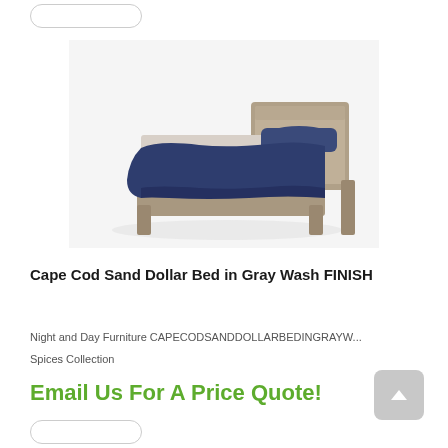[Figure (photo): Product photo of a twin bed with gray washed wood frame and dark navy blue bedding on white background]
Cape Cod Sand Dollar Bed in Gray Wash FINISH
Night and Day Furniture CAPECODSANDDOLLARBEDINGRAYW...
Spices Collection
Email Us For A Price Quote!